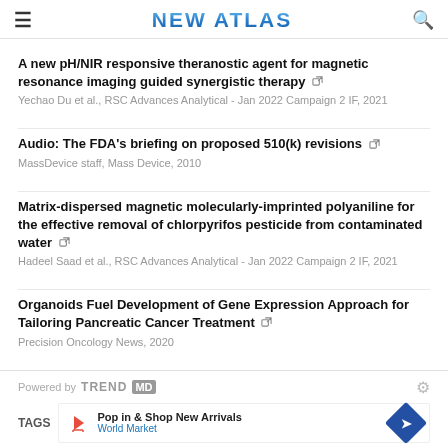NEW ATLAS
A new pH/NIR responsive theranostic agent for magnetic resonance imaging guided synergistic therapy
Yechao Du et al., RSC Advances Analytical - Jan 2022 Campaign 2 IF, 2021
Audio: The FDA's briefing on proposed 510(k) revisions
MassDevice staff, Mass Device, 2010
Matrix-dispersed magnetic molecularly-imprinted polyaniline for the effective removal of chlorpyrifos pesticide from contaminated water
Hadeel Saad et al., RSC Advances Analytical - Jan 2022 Campaign 2 IF, 2021
Organoids Fuel Development of Gene Expression Approach for Tailoring Pancreatic Cancer Treatment
Precision Oncology News, 2020
Powered by TRENDMD
TAGS